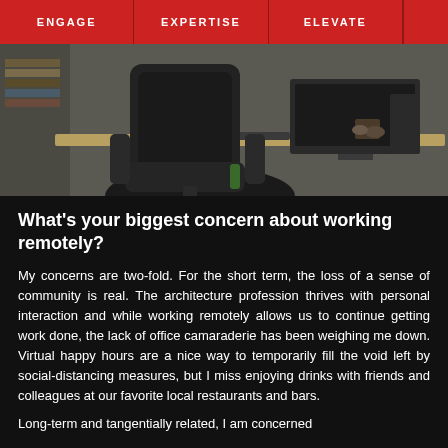ENGAGE   EXPERTISE   ELEVATE
[Figure (photo): Office workspace photo showing an ergonomic chair in the foreground and a desk with computer monitor and keyboard in the background]
What's your biggest concern about working remotely?
My concerns are two-fold. For the short term, the loss of a sense of community is real. The architecture profession thrives with personal interaction and while working remotely allows us to continue getting work done, the lack of office camaraderie has been weighing me down. Virtual happy hours are a nice way to temporarily fill the void left by social-distancing measures, but I miss enjoying drinks with friends and colleagues at our favorite local restaurants and bars.
Long-term and tangentially related, I am concerned